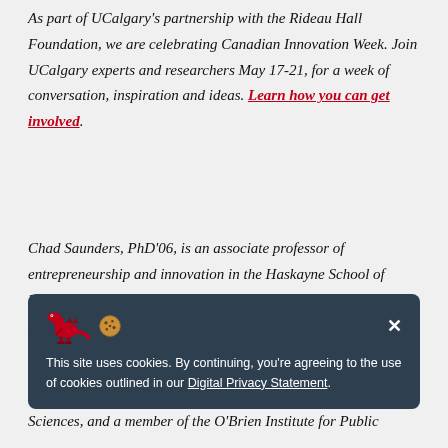As part of UCalgary's partnership with the Rideau Hall Foundation, we are celebrating Canadian Innovation Week. Join UCalgary experts and researchers May 17-21, for a week of conversation, inspiration and ideas. Learn how you can get involved.
Chad Saunders, PhD'06, is an associate professor of entrepreneurship and innovation in the Haskayne School of Business. He holds adjunct appointments in the departments of Medicine and Community Health Sciences, at the CSM. He is a member of the CSM's O'Brien Institute for Public Health and a health services and strategy lead
This site uses cookies. By continuing, you're agreeing to the use of cookies outlined in our Digital Privacy Statement.
Sciences, and a member of the O'Brien Institute for Public